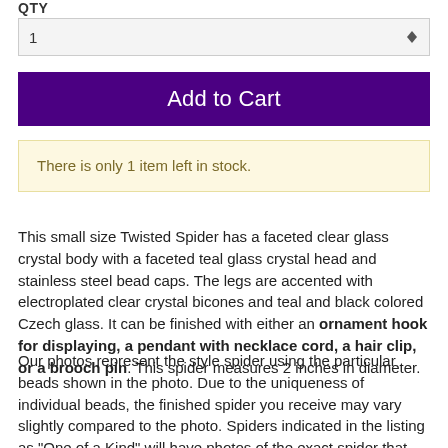QTY
[Figure (screenshot): Quantity selector input showing value 1 with up/down arrows]
[Figure (screenshot): Add to Cart button in dark purple]
There is only 1 item left in stock.
This small size Twisted Spider has a faceted clear glass crystal body with a faceted teal glass crystal head and stainless steel bead caps. The legs are accented with electroplated clear crystal bicones and teal and black colored Czech glass. It can be finished with either an ornament hook for displaying, a pendant with necklace cord, a hair clip, or a brooch pin. This spider measures 2 inches in diameter.
Our photos represent the style spider using the particular beads shown in the photo. Due to the uniqueness of individual beads, the finished spider you receive may vary slightly compared to the photo. Spiders indicated in the listing as "One of a Kind" will have photos of the exact spider that you will receive. Customers are responsible for reading the item descriptions and contacting